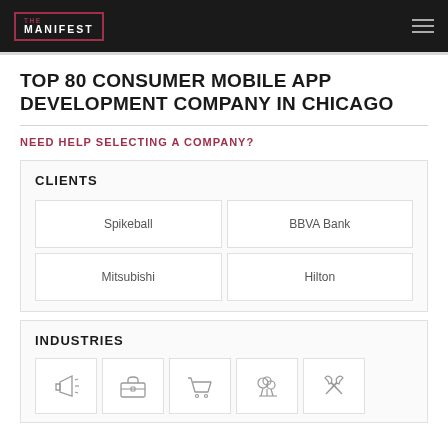THE MANIFEST
TOP 80 CONSUMER MOBILE APP DEVELOPMENT COMPANY IN CHICAGO
NEED HELP SELECTING A COMPANY?
CLIENTS
| Spikeball | BBVA Bank |
| Mitsubishi | Hilton |
INDUSTRIES
[Figure (infographic): Five industry icons: megaphone/advertising, briefcase/business, shopping cart/ecommerce, cloud/technology, tools/other]